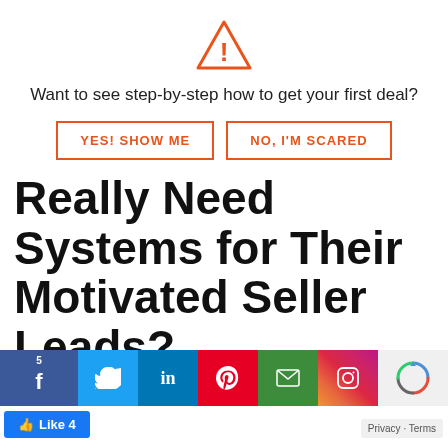[Figure (illustration): Orange warning triangle icon with exclamation mark]
Want to see step-by-step how to get your first deal?
YES! SHOW ME
NO, I'M SCARED
Really Need Systems for Their Motivated Seller Leads?
[Figure (infographic): Social share bar with Facebook (5 shares), Twitter, LinkedIn, Pinterest, Email, Instagram icons, and a reCAPTCHA logo]
Like 4
Privacy · Terms